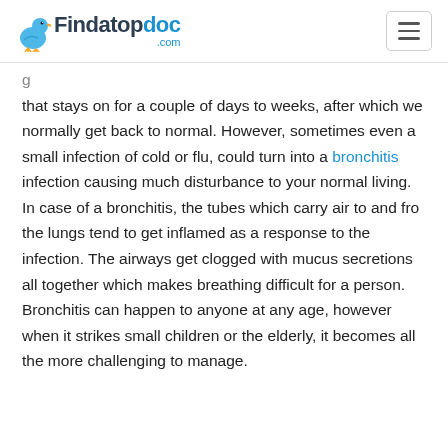Findatopdoc.com
that stays on for a couple of days to weeks, after which we normally get back to normal. However, sometimes even a small infection of cold or flu, could turn into a bronchitis infection causing much disturbance to your normal living. In case of a bronchitis, the tubes which carry air to and fro the lungs tend to get inflamed as a response to the infection. The airways get clogged with mucus secretions all together which makes breathing difficult for a person. Bronchitis can happen to anyone at any age, however when it strikes small children or the elderly, it becomes all the more challenging to manage.